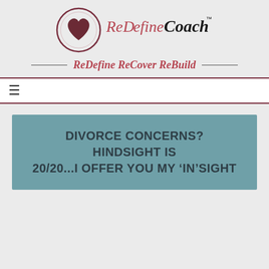[Figure (logo): ReDefine Coach logo with a circle containing a heart, and stylized text reading ReDefine Coach with TM mark]
ReDefine ReCover ReBuild
≡ (hamburger menu icon)
DIVORCE CONCERNS? HINDSIGHT IS 20/20...I OFFER YOU MY ‘IN’SIGHT